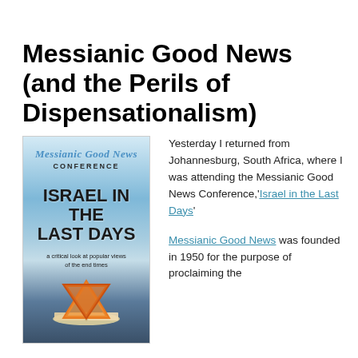Messianic Good News (and the Perils of Dispensationalism)
[Figure (illustration): Book/conference cover for 'Messianic Good News Conference – Israel in the Last Days: a critical look at popular views of the end times', featuring a Star of David in orange/golden tones over an open Bible, with a blue sky and mountains background.]
Yesterday I returned from Johannesburg, South Africa, where I was attending the Messianic Good News Conference,'Israel in the Last Days'
Messianic Good News was founded in 1950 for the purpose of proclaiming the